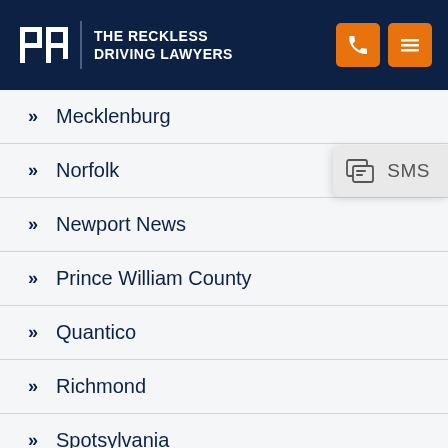THE RECKLESS DRIVING LAWYERS
Mecklenburg
Norfolk
Newport News
Prince William County
Quantico
Richmond
Spotsylvania
Springfield